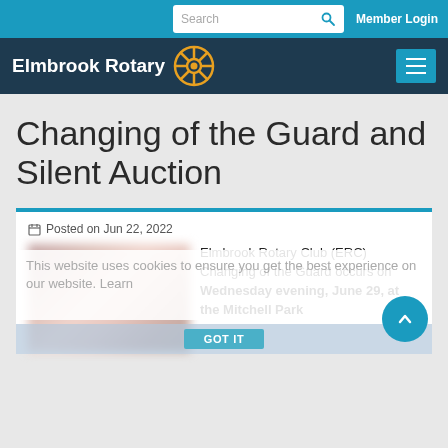Search | Member Login
Elmbrook Rotary
Changing of the Guard and Silent Auction
Posted on Jun 22, 2022
This website uses cookies to ensure you get the best experience on our website. Learn
Elmbrook Rotary Club (ERC) Changing of the Guard occurs on Wednesday evening, June 29, at the Mitchell Park